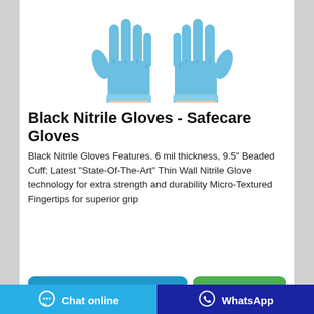[Figure (photo): Two blue nitrile gloves shown from the palm/back side, fingers splayed upward against a white background]
Black Nitrile Gloves - Safecare Gloves
Black Nitrile Gloves Features. 6 mil thickness, 9.5" Beaded Cuff; Latest "State-Of-The-Art" Thin Wall Nitrile Glove technology for extra strength and durability Micro-Textured Fingertips for superior grip
[Figure (screenshot): Bottom navigation bar with 'Chat online' button (light blue) and 'WhatsApp' button (dark blue) with respective icons]